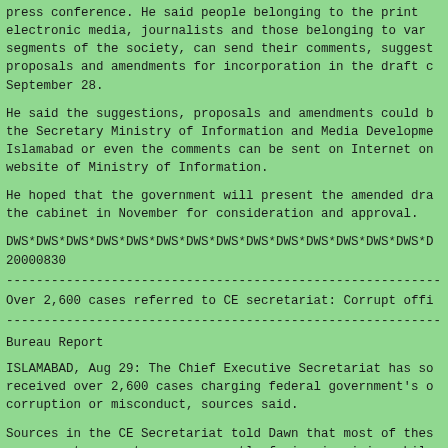press conference. He said people belonging to the print electronic media, journalists and those belonging to var segments of the society, can send their comments, suggest proposals and amendments for incorporation in the draft c September 28.
He said the suggestions, proposals and amendments could b the Secretary Ministry of Information and Media Developme Islamabad or even the comments can be sent on Internet on website of Ministry of Information.
He hoped that the government will present the amended dra the cabinet in November for consideration and approval.
DWS*DWS*DWS*DWS*DWS*DWS*DWS*DWS*DWS*DWS*DWS*DWS*DWS*DWS*D
20000830
----------------------------------------------------------------------
Over 2,600 cases referred to CE secretariat: Corrupt offi
----------------------------------------------------------------------
Bureau Report
ISLAMABAD, Aug 29: The Chief Executive Secretariat has so received over 2,600 cases charging federal government's o corruption or misconduct, sources said.
Sources in the CE Secretariat told Dawn that most of thes government servants were currently facing inquiries while were likely to be charge-sheeted soon. The information ab officials is being collected by the CE Secretariat, follo of the Chief Executive Gen Pervez Musharraf. The provinc